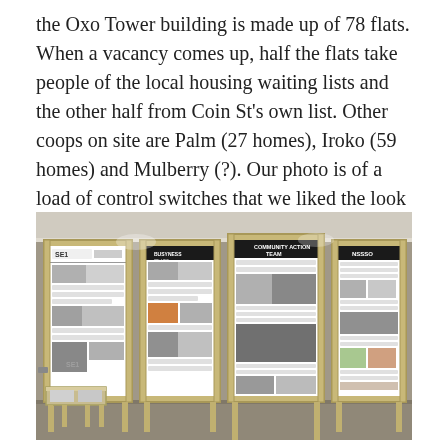the Oxo Tower building is made up of 78 flats. When a vacancy comes up, half the flats take people of the local housing waiting lists and the other half from Coin St's own list. Other coops on site are Palm (27 homes), Iroko (59 homes) and Mulberry (?). Our photo is of a load of control switches that we liked the look of.
[Figure (photo): Indoor exhibition with four large wooden-framed display boards showing black and white newsletter/poster panels. The boards are labelled SE1, a black board, Community Action Team, and NSSSO. A small wooden stool/table sits in front of the first board.]